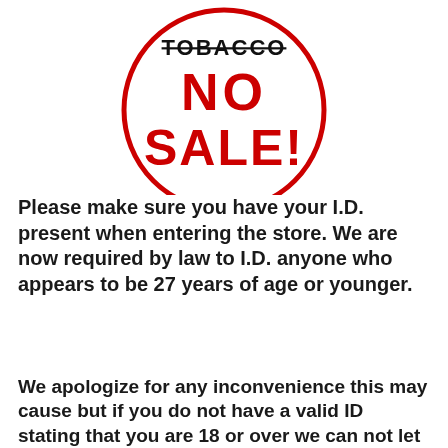[Figure (illustration): A circular red-bordered stamp/sign with text 'NO SALE!' in bold red distressed font, with a crossed-out or strikethrough element at the top in black]
Please make sure you have your I.D. present when entering the store. We are now required by law to I.D. anyone who appears to be 27 years of age or younger.
We apologize for any inconvenience this may cause but if you do not have a valid ID stating that you are 18 or over we can not let you test